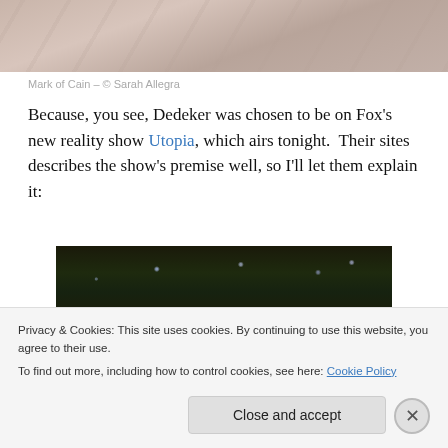[Figure (photo): Close-up photo of wrinkled pale fabric or skin with warm beige/tan tones]
Mark of Cain – © Sarah Allegra
Because, you see, Dedeker was chosen to be on Fox's new reality show Utopia, which airs tonight.  Their sites describes the show's premise well, so I'll let them explain it:
[Figure (photo): Dark nighttime outdoor photo with small bright lights (stars or bokeh) visible against dark foliage]
Privacy & Cookies: This site uses cookies. By continuing to use this website, you agree to their use.
To find out more, including how to control cookies, see here: Cookie Policy